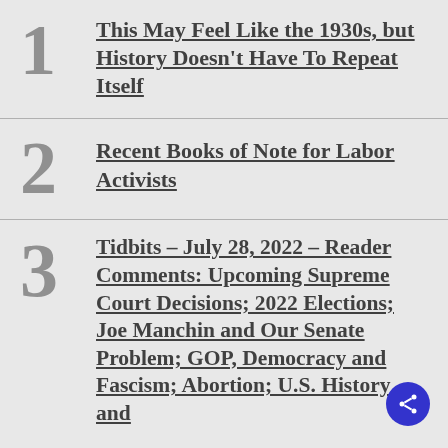1 This May Feel Like the 1930s, but History Doesn't Have To Repeat Itself
2 Recent Books of Note for Labor Activists
3 Tidbits – July 28, 2022 – Reader Comments: Upcoming Supreme Court Decisions; 2022 Elections; Joe Manchin and Our Senate Problem; GOP, Democracy and Fascism; Abortion; U.S. History and